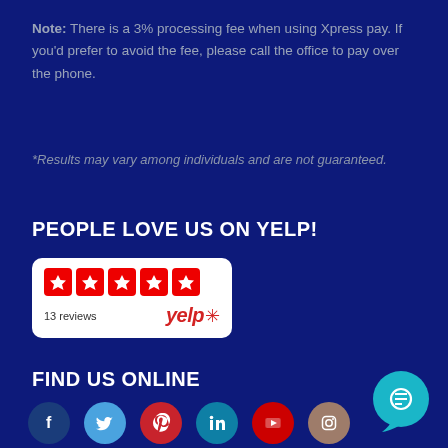Note: There is a 3% processing fee when using Xpress pay. If you'd prefer to avoid the fee, please call the office to pay over the phone.
*Results may vary among individuals and are not guaranteed.
PEOPLE LOVE US ON YELP!
[Figure (other): Yelp 5-star badge showing 13 reviews with Yelp logo]
FIND US ONLINE
[Figure (other): Social media icons for Facebook, Twitter, Pinterest, LinkedIn, YouTube, Instagram, and a chat bubble icon]